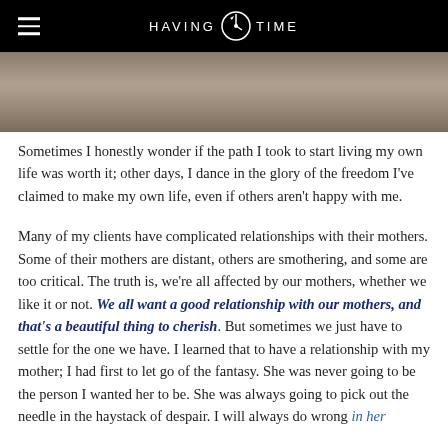HAVING TIME (logo with compass/clock icon)
[Figure (photo): Bottom portion of a beach or sandy outdoor scene, muted tones, partial view of sandy ground]
Sometimes I honestly wonder if the path I took to start living my own life was worth it; other days, I dance in the glory of the freedom I've claimed to make my own life, even if others aren't happy with me.
Many of my clients have complicated relationships with their mothers. Some of their mothers are distant, others are smothering, and some are too critical. The truth is, we're all affected by our mothers, whether we like it or not. We all want a good relationship with our mothers, and that's a beautiful thing to cherish. But sometimes we just have to settle for the one we have. I learned that to have a relationship with my mother; I had first to let go of the fantasy. She was never going to be the person I wanted her to be. She was always going to pick out the needle in the haystack of despair. I will always do wrong in her